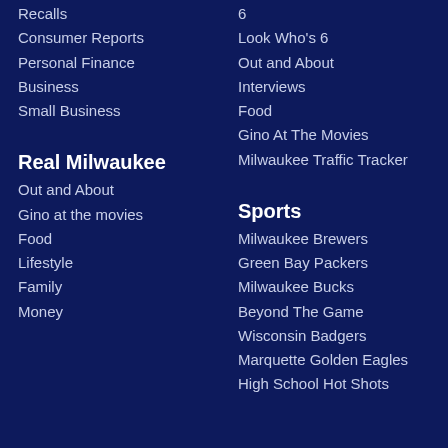Recalls
Consumer Reports
Personal Finance
Business
Small Business
6
Look Who's 6
Out and About
Interviews
Food
Gino At The Movies
Milwaukee Traffic Tracker
Real Milwaukee
Out and About
Gino at the movies
Food
Lifestyle
Family
Money
Sports
Milwaukee Brewers
Green Bay Packers
Milwaukee Bucks
Beyond The Game
Wisconsin Badgers
Marquette Golden Eagles
High School Hot Shots